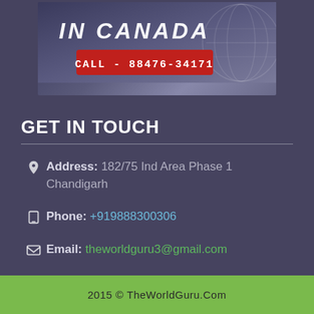[Figure (infographic): Banner image showing a promotional graphic with text 'IN CANADA' and a red call-to-action box reading 'CALL - 88476-34171']
GET IN TOUCH
Address: 182/75 Ind Area Phase 1 Chandigarh
Phone: +919888300306
Email: theworldguru3@gmail.com
Name: TheWorldGuru
2015 © TheWorldGuru.Com